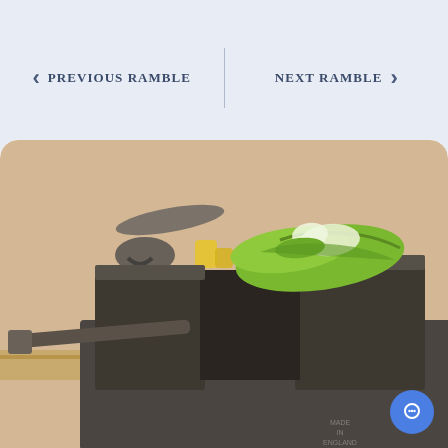PREVIOUS RAMBLE
NEXT RAMBLE
[Figure (photo): A metal bench vise with a broad bean or green pod being crushed in its jaws. In the background, a pair of pliers with yellow handles rests against a wall on a wooden surface.]